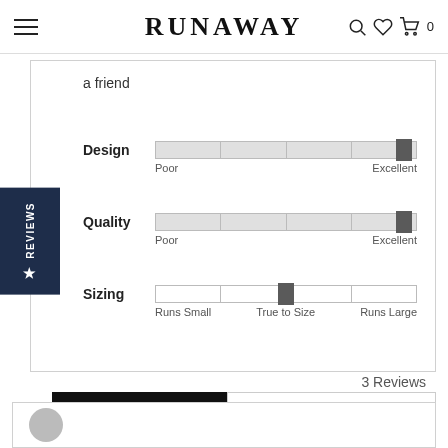RUNAWAY
a friend
[Figure (infographic): Three rating sliders: Design (near Excellent), Quality (near Excellent), Sizing (True to Size/center). Each slider has a track with 4 segments and a square thumb. Labels below each slider show the scale endpoints.]
3 Reviews
WRITE A REVIEW
Most Recent